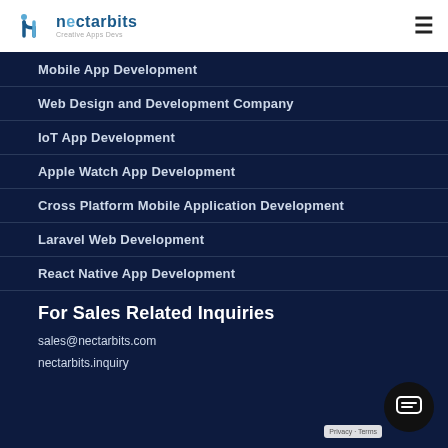nectarbits — Creative Apps Devs
Mobile App Development
Web Design and Development Company
IoT App Development
Apple Watch App Development
Cross Platform Mobile Application Development
Laravel Web Development
React Native App Development
For Sales Related Inquiries
sales@nectarbits.com
nectarbits.inquiry